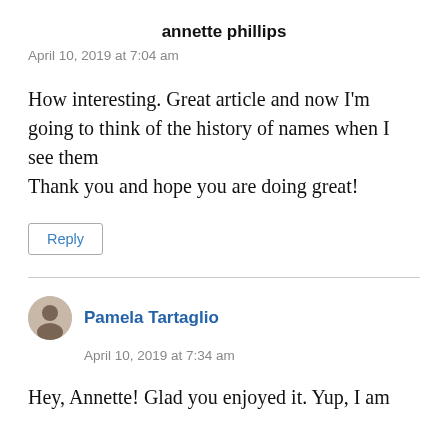annette phillips
April 10, 2019 at 7:04 am
How interesting. Great article and now I'm going to think of the history of names when I see them
Thank you and hope you are doing great!
Reply
Pamela Tartaglio
April 10, 2019 at 7:34 am
Hey, Annette! Glad you enjoyed it. Yup, I am